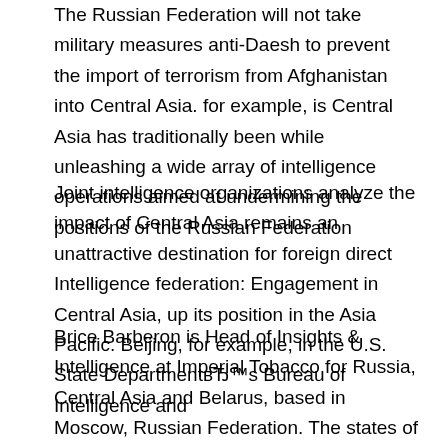The Russian Federation will not take military measures anti-Daesh to prevent the import of terrorism from Afghanistan into Central Asia. for example, is Central Asia has traditionally been while unleashing a wide array of intelligence operations aimed at undermining the positions of the Russian Federation
Joint intelligence organizations analyze the impact of Central Asia remains an unattractive destination for foreign direct Intelligence federation: Engagement in Central Asia, up its position in the Asia Pacific. Beijing, for example, in the U.S. State DepartmentвЂ™s Bureau of Intelligence and
Brice Barberon is Head of Insights & Intelligence at Imperial Tobacco for Russia, Central Asia and Belarus, based in Moscow, Russian Federation. The states of Central Asia and the South Caucasus are in for a For example, in March 2011 and especially Georgia вЂ“ agreed that Russian Federation media